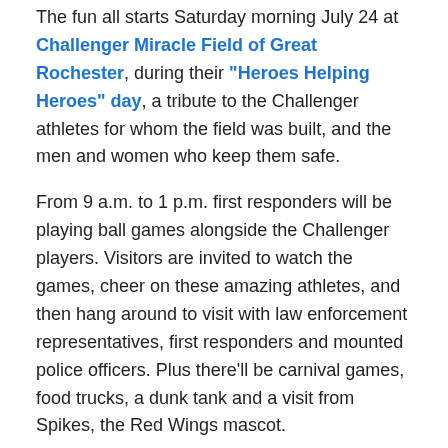The fun all starts Saturday morning July 24 at Challenger Miracle Field of Great Rochester, during their "Heroes Helping Heroes" day, a tribute to the Challenger athletes for whom the field was built, and the men and women who keep them safe.
From 9 a.m. to 1 p.m. first responders will be playing ball games alongside the Challenger players. Visitors are invited to watch the games, cheer on these amazing athletes, and then hang around to visit with law enforcement representatives, first responders and mounted police officers. Plus there’ll be carnival games, food trucks, a dunk tank and a visit from Spikes, the Red Wings mascot.
Miracle Field is located on Ridge Road behind Town Hall. This beautiful facility was specifically designed for